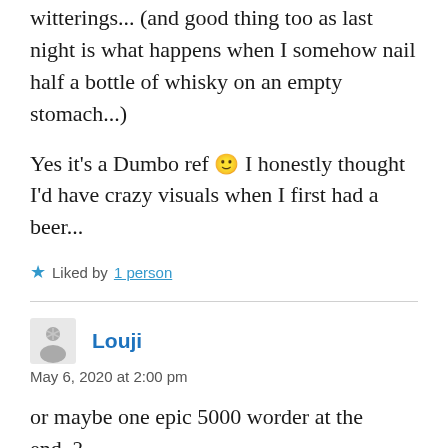witterings... (and good thing too as last night is what happens when I somehow nail half a bottle of whisky on an empty stomach...)
Yes it's a Dumbo ref 🙂 I honestly thought I'd have crazy visuals when I first had a beer...
★ Liked by 1 person
Louji
May 6, 2020 at 2:00 pm
or maybe one epic 5000 worder at the end..?